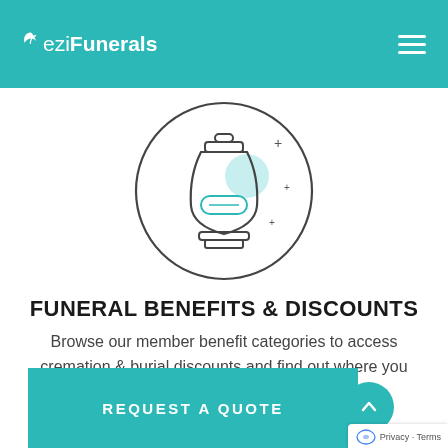eziFunerals
[Figure (illustration): Circular icon outline of a cremation urn with sparkle/plus decorations and a teal accent, on white background]
FUNERAL BENEFITS & DISCOUNTS
Browse our member benefit categories to access cremation & burial discounts and find out where you can save.
REQUEST A QUOTE